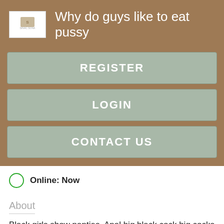Why do guys like to eat pussy
REGISTER
LOGIN
CONTACT US
Online: Now
About
Black girls show panties. Anal big black cock big cocks Superb ebony girl Skin Diamond shows her ass ready for fuck Babes couple fingering Sweet girl in black stockings